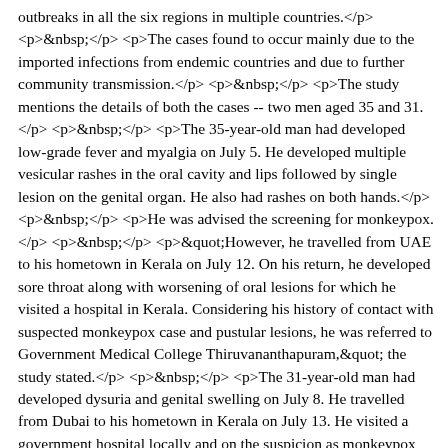outbreaks in all the six regions in multiple countries. The cases found to occur mainly due to the imported infections from endemic countries and due to further community transmission. The study mentions the details of both the cases -- two men aged 35 and 31. The 35-year-old man had developed low-grade fever and myalgia on July 5. He developed multiple vesicular rashes in the oral cavity and lips followed by single lesion on the genital organ. He also had rashes on both hands. He was advised the screening for monkeypox. "However, he travelled from UAE to his hometown in Kerala on July 12. On his return, he developed sore throat along with worsening of oral lesions for which he visited a hospital in Kerala. Considering his history of contact with suspected monkeypox case and pustular lesions, he was referred to Government Medical College Thiruvananthapuram," the study stated. The 31-year-old man had developed dysuria and genital swelling on July 8. He travelled from Dubai to his hometown in Kerala on July 13. He visited a government hospital locally and on the suspicion as monkeypox case, he was isolated on July 16. The study said the infection starts with a febrile illness with average incubation of 513 days with lymphadenopathy, myalgia, and headache, followed by deep-seated umbilicated vesicular/pustular rashes. The rash primarily starts from the